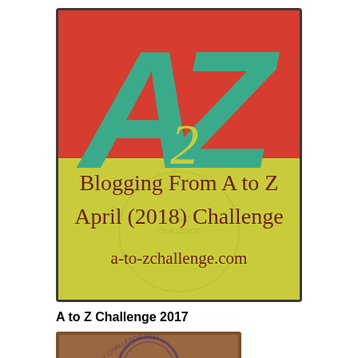[Figure (illustration): A to Z Blogging Challenge 2018 badge. Top half has red background with large teal letters A and Z and a smaller teal numeral 2 between them. Bottom half has yellow-green background with dark red/brown text reading 'Blogging From A to Z April (2018) Challenge a-to-zchallenge.com'. A faint watermark logo is visible in the yellow section.]
A to Z Challenge 2017
[Figure (illustration): A to Z Challenge 2017 badge. Brown/tan background with circular stamp-style design showing partial letters and text related to the A to Z Challenge.]